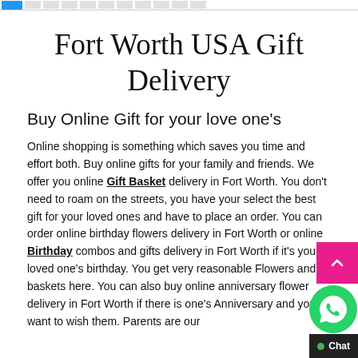[Navigation bar with tabs]
Fort Worth USA Gift Delivery
Buy Online Gift for your love one's
Online shopping is something which saves you time and effort both. Buy online gifts for your family and friends. We offer you online Gift Basket delivery in Fort Worth. You don't need to roam on the streets, you have your select the best gift for your loved ones and have to place an order. You can order online birthday flowers delivery in Fort Worth or online Birthday combos and gifts delivery in Fort Worth if it's your loved one's birthday. You get very reasonable Flowers and baskets here. You can also buy online anniversary flower delivery in Fort Worth if there is one's Anniversary and you want to wish them. Parents are our